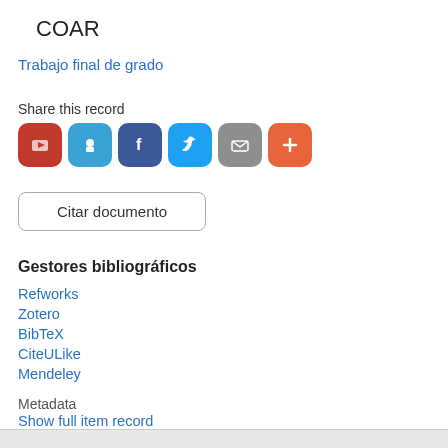COAR
Trabajo final de grado
Share this record
[Figure (infographic): Six social sharing icon buttons: red (unknown), light blue (unknown), dark blue with F (Facebook), sky blue with bird (Twitter), gray with envelope (email), orange with plus (more)]
Citar documento
Gestores bibliográficos
Refworks
Zotero
BibTeX
CiteULike
Mendeley
Metadata
Show full item record